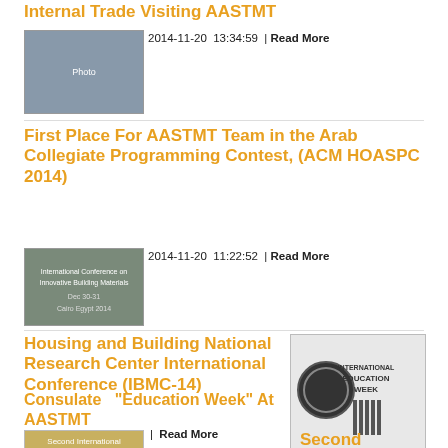Internal Trade Visiting AASTMT
2014-11-20  13:34:59  |  Read More
[Figure (photo): Group photo of students/visitors]
First Place For AASTMT Team in the Arab Collegiate Programming Contest, (ACM HOASPC 2014)
2014-11-20  11:22:52  |  Read More
[Figure (photo): Conference on Innovative Building Materials poster]
Housing and Building National Research Center International Conference (IBMC-14)
2014-11-19  13:54:33  .  |  Read More
[Figure (photo): International Education Week logo]
General Consulate "Education Week" At AASTMT
[Figure (photo): Second International Conference image]
Second